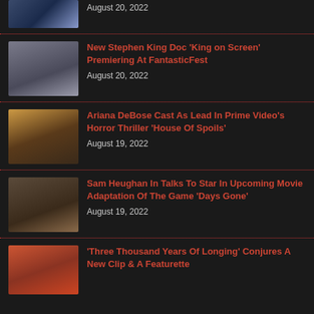[Figure (photo): Thumbnail image, partially visible at top]
August 20, 2022
[Figure (photo): Stephen King portrait thumbnail]
New Stephen King Doc ‘King on Screen’ Premiering At FantasticFest
August 20, 2022
[Figure (photo): Ariana DeBose thumbnail]
Ariana DeBose Cast As Lead In Prime Video’s Horror Thriller ‘House Of Spoils’
August 19, 2022
[Figure (photo): Sam Heughan thumbnail]
Sam Heughan In Talks To Star In Upcoming Movie Adaptation Of The Game ‘Days Gone’
August 19, 2022
[Figure (photo): Three Thousand Years Of Longing thumbnail]
‘Three Thousand Years Of Longing’ Conjures A New Clip & A Featurette